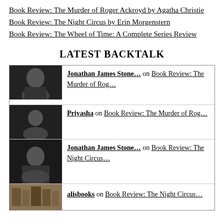Book Review: The Murder of Roger Ackroyd by Agatha Christie
Book Review: The Night Circus by Erin Morgenstern
Book Review: The Wheel of Time: A Complete Series Review
LATEST BACKTALK
Jonathan James Stone... on Book Review: The Murder of Rog...
Priyasha on Book Review: The Murder of Rog...
Jonathan James Stone... on Book Review: The Night Circus...
alisbooks on Book Review: The Night Circus...